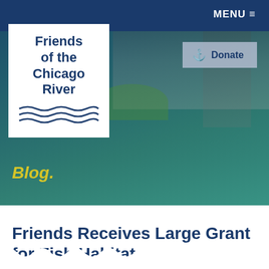MENU ≡
[Figure (photo): Hero image of the Chicago River with city buildings in background, overlaid with a teal/blue color wash. Shows the Friends of the Chicago River logo in a white box at top left, a Donate button at top right, and 'Blog.' text in yellow-gold italic at lower left. Bottom edge has a white scalloped wave pattern border.]
Friends Receives Large Grant for Fish Habitat